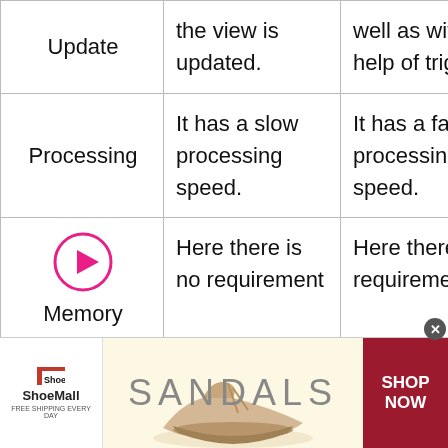|  | View | Materialized View |
| --- | --- | --- |
| Update | the view is updated. | well as with the help of triggers. |
| Processing | It has a slow processing speed. | It has a fast processing speed. |
| Memory | Here there is no requirement | Here there is a requirement |
[Figure (other): ShoeMall advertisement banner with sandals promotion and SHOP NOW call to action]